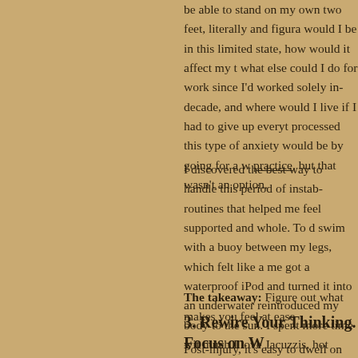be able to stand on my own two feet, literally and figura… would I be in this limited state, how would it affect my t… what else could I do for work since I'd worked solely in… decade, and where would I live if I had to give up everyt… processed this type of anxiety would be by going for a w… practice, but that wasn't an option.
I discovered the best way to handle this period of instab… routines that helped me feel supported and whole. To d… swim with a buoy between my legs, which felt like a me… got a waterproof iPod and turned it into an underwater… reintroduced my body to the sun. I spent more time wit… much I love Jacuzzis, hot springs, bathhouses, listening… massages.
The takeaway: Figure out what makes you feel at ease…
3. Rewire Your Thinking. Focus on W…
Post-injury, it's easy to dwell on not having the same ra… not having the capability to safely get into your favorite…